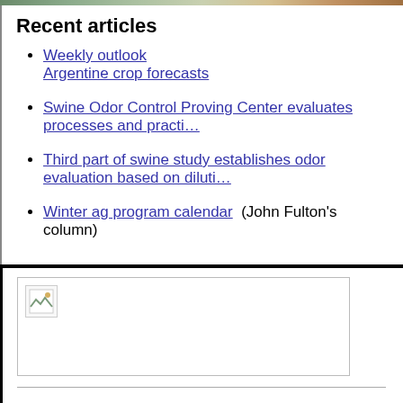Recent articles
Weekly outlook Argentine crop forecasts
Swine Odor Control Proving Center evaluates processes and practi…
Third part of swine study establishes odor evaluation based on diluti…
Winter ag program calendar (John Fulton's column)
[Figure (photo): Small broken/missing image icon placeholder within a bordered box]
News | Sports | Business | Rural Review | Teaching & Learning | Home Community | Perspectives | Law & Courts | Leisure Time | Spiritual Life Calendar | Letters to the Editor